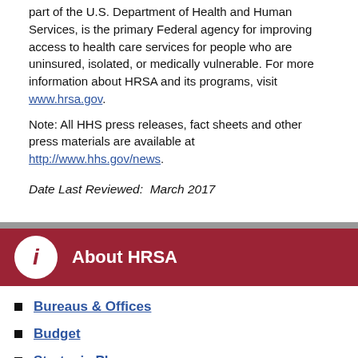part of the U.S. Department of Health and Human Services, is the primary Federal agency for improving access to health care services for people who are uninsured, isolated, or medically vulnerable. For more information about HRSA and its programs, visit www.hrsa.gov.
Note: All HHS press releases, fact sheets and other press materials are available at http://www.hhs.gov/news.
Date Last Reviewed:  March 2017
About HRSA
Bureaus & Offices
Budget
Strategic Plan
Working at HRSA